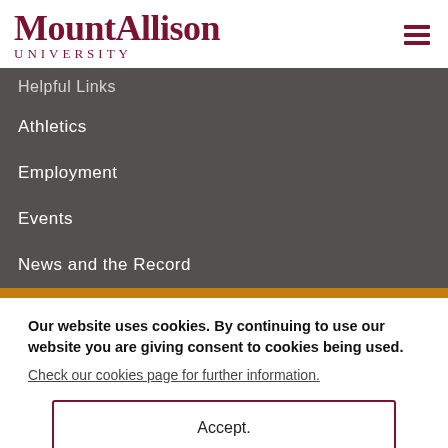Mount Allison University
Helpful Links
Athletics
Employment
Events
News and the Record
Our website uses cookies. By continuing to use our website you are giving consent to cookies being used.
Check our cookies page for further information.
Accept.